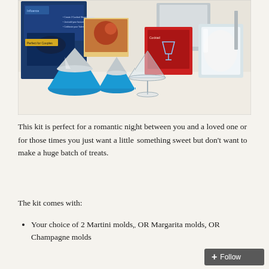[Figure (photo): Photo of a cocktail candy making kit showing metallic molds, blue cupcake liners shaped like martini glasses, clear plastic martini glasses, ingredient packets, a glass, and a promotional booklet saying 'Perfect for Couples' with a logo at top.]
This kit is perfect for a romantic night between you and a loved one or for those times you just want a little something sweet but don't want to make a huge batch of treats.
The kit comes with:
Your choice of 2 Martini molds, OR Margarita molds, OR Champagne molds